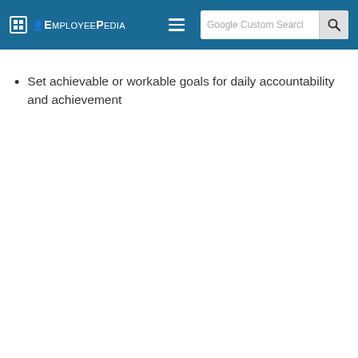Employeepedia | Google Custom Search
Set achievable or workable goals for daily accountability and achievement